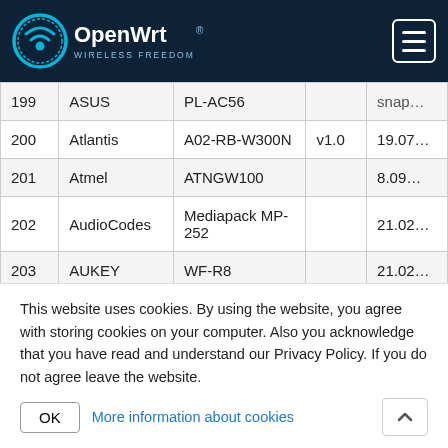OpenWrt
| # | Brand | Model | Version |  |
| --- | --- | --- | --- | --- |
| 199 | ASUS | PL-AC56 |  | snap… |
| 200 | Atlantis | A02-RB-W300N | v1.0 | 19.07… |
| 201 | Atmel | ATNGW100 |  | 8.09… |
| 202 | AudioCodes | Mediapack MP-252 |  | 21.02… |
| 203 | AUKEY | WF-R8 |  | 21.02… |
| 204 | AVM | FRITZ!Box 3490 |  |  |
| 205 | AVM | FRITZ!Box 3390 |  |  |
This website uses cookies. By using the website, you agree with storing cookies on your computer. Also you acknowledge that you have read and understand our Privacy Policy. If you do not agree leave the website.